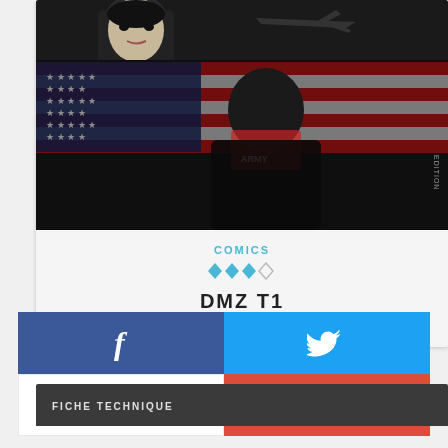[Figure (illustration): Comic book cover art for DMZ T1 showing a woman's face and an airplane at the top, then a man wearing a red t-shirt in front of a distressed American flag (red, white, black color scheme)]
COMICS
[Figure (other): 3.5 star rating shown as blue diamond shapes, 3 filled and 1 half/empty]
DMZ T1
URBAN COMICS
[Figure (infographic): Social sharing buttons: Facebook (blue, f icon), Twitter (light blue, bird icon), Print (white, printer icon), Google+ (red, g+ icon)]
FICHE TECHNIQUE